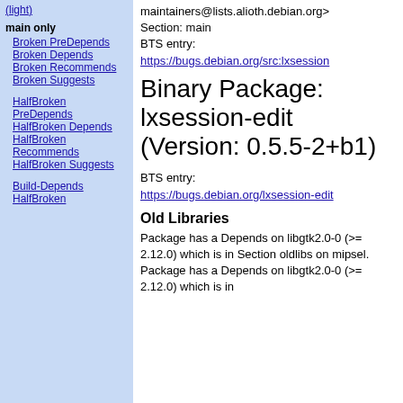(light)
main only
Broken PreDepends
Broken Depends
Broken Recommends
Broken Suggests
HalfBroken PreDepends
HalfBroken Depends
HalfBroken Recommends
HalfBroken Suggests
Build-Depends
HalfBroken
maintainers@lists.alioth.debian.org>
Section: main
BTS entry:
https://bugs.debian.org/src:lxsession
Binary Package: lxsession-edit (Version: 0.5.5-2+b1)
BTS entry:
https://bugs.debian.org/lxsession-edit
Old Libraries
Package has a Depends on libgtk2.0-0 (>= 2.12.0) which is in Section oldlibs on mipsel. Package has a Depends on libgtk2.0-0 (>= 2.12.0) which is in